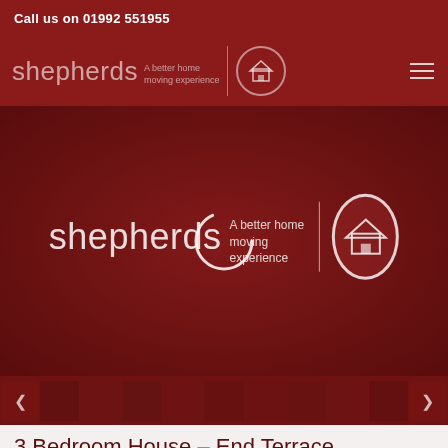Call us on 01992 551955
[Figure (logo): Shepherds estate agency logo with text 'shepherds | A better home moving experience' and house icon, repeated in header nav and hero overlay]
[Figure (screenshot): Hero image area showing reddish-toned property photo with loading spinner overlay and thumbnail strip at bottom]
3 Bedroom House – End Terrace
SOLD BY SHEPHERDS - THREE DOUBLE BEDROOM HOME OFFERED CHAIN FREE - PEACEFUL BUT CONVENIENT LOCATION within excellent school catchment area and convenient for both TRAIN STATIONS and the TOWN CENTRE this end terrace house is situated on the east side of town and is fully